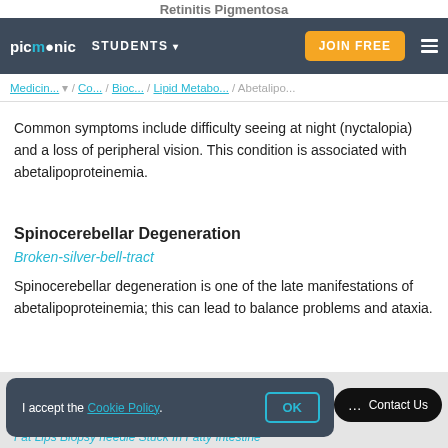Retinitis Pigmentosa
picmonic   STUDENTS ▾   JOIN FREE   ☰
Medicin... ▾ / Co... / Bioc... / Lipid Metabo... / Abetalipo...
Common symptoms include difficulty seeing at night (nyctalopia) and a loss of peripheral vision. This condition is associated with abetalipoproteinemia.
Spinocerebellar Degeneration
Broken-silver-bell-tract
Spinocerebellar degeneration is one of the late manifestations of abetalipoproteinemia; this can lead to balance problems and ataxia.
I accept the Cookie Policy.
OK
Contact Us
Fat Lips Biopsy needle Stuck In Fatty Intestine